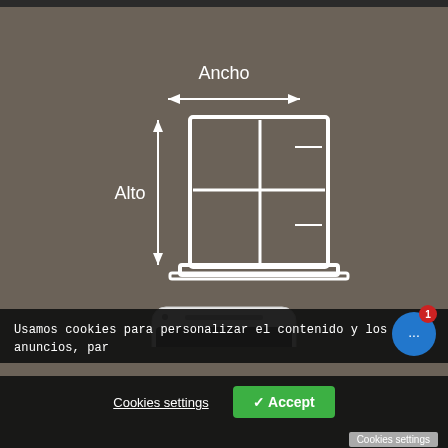[Figure (illustration): Window diagram with 'Ancho' (width) labeled at top with a double-headed horizontal arrow, and 'Alto' (height) labeled on the left with a double-headed vertical arrow. Below the diagram, a smartphone is partially visible.]
Usamos cookies para personalizar el contenido y los anuncios, par
Cookies settings
✓ Accept
Cookies settings